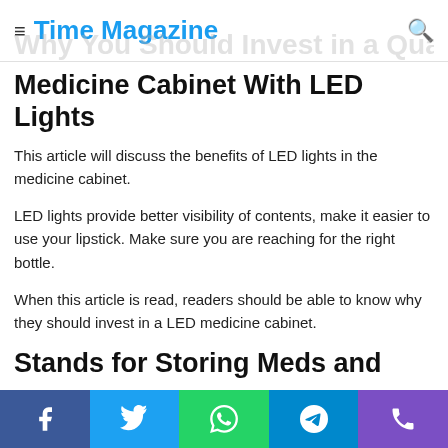Time Magazine
Why You Should Invest in a Quality Medicine Cabinet With LED Lights
This article will discuss the benefits of LED lights in the medicine cabinet.
LED lights provide better visibility of contents, make it easier to use your lipstick. Make sure you are reaching for the right bottle.
When this article is read, readers should be able to know why they should invest in a LED medicine cabinet.
Stands for Storing Meds and